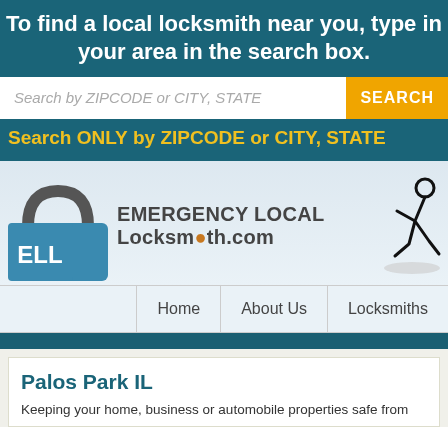To find a local locksmith near you, type in your area in the search box.
Search by ZIPCODE or CITY, STATE
SEARCH
Search ONLY by ZIPCODE or CITY, STATE
[Figure (logo): Emergency Local Locksmith.com logo with padlock icon, ELL blue box, and running figure]
Home   About Us   Locksmiths
Palos Park IL
Keeping your home, business or automobile properties safe from